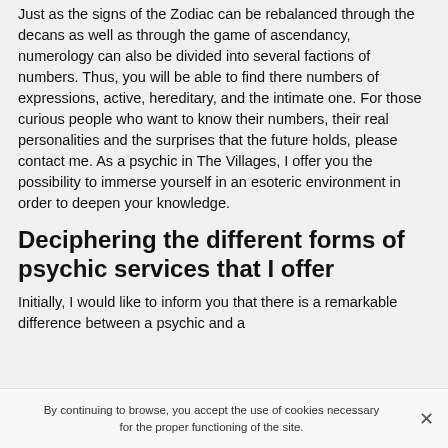Just as the signs of the Zodiac can be rebalanced through the decans as well as through the game of ascendancy, numerology can also be divided into several factions of numbers. Thus, you will be able to find there numbers of expressions, active, hereditary, and the intimate one. For those curious people who want to know their numbers, their real personalities and the surprises that the future holds, please contact me. As a psychic in The Villages, I offer you the possibility to immerse yourself in an esoteric environment in order to deepen your knowledge.
Deciphering the different forms of psychic services that I offer
Initially, I would like to inform you that there is a remarkable difference between a psychic and a
By continuing to browse, you accept the use of cookies necessary for the proper functioning of the site.